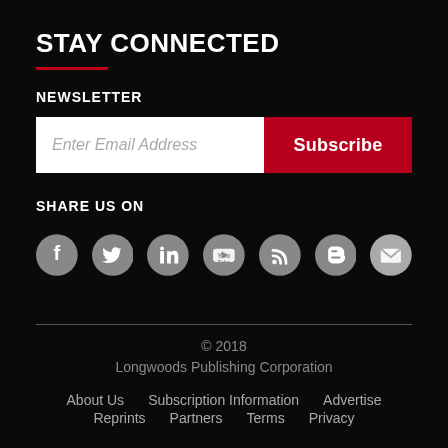STAY CONNECTED
NEWSLETTER
Enter Email Address | Subscribe
SHARE US ON
[Figure (infographic): Row of 7 social media icons: Facebook, Twitter, LinkedIn, YouTube, RSS, Blogger, Email — each as a grey circle with white icon]
© 2018 Longwoods Publishing Corporation | About Us | Subscription Information | Advertise | Reprints | Partners | Terms | Privacy